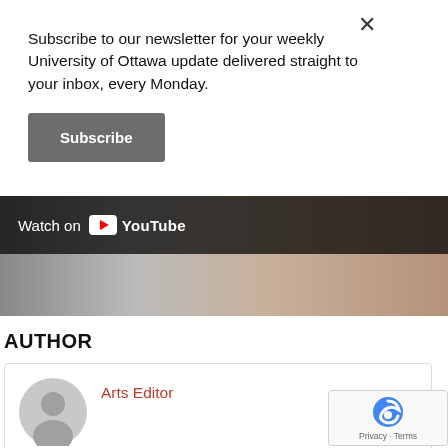Subscribe to our newsletter for your weekly University of Ottawa update delivered straight to your inbox, every Monday.
Subscribe
[Figure (screenshot): YouTube video thumbnail with 'Watch on YouTube' overlay bar showing YouTube logo and wordmark on dark semi-transparent background]
AUTHOR
[Figure (photo): Generic user avatar placeholder (grey circle with person silhouette)]
Arts Editor